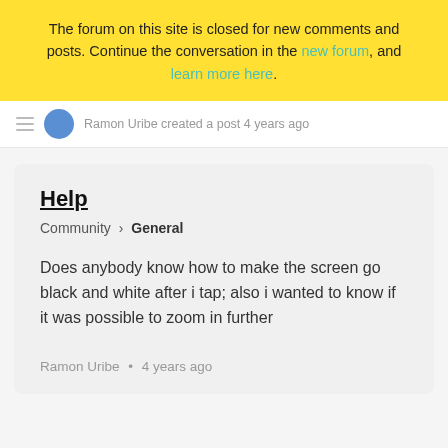The forum on this site is closed for new comments and posts. Continue the conversation in the new forum, and learn more here.
Ramon Uribe created a post 4 years ago
Help
Community › General
Does anybody know how to make the screen go black and white after i tap; also i wanted to know if it was possible to zoom in further
Ramon Uribe • 4 years ago